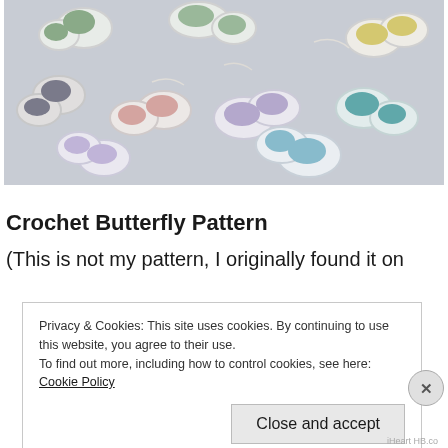[Figure (photo): Photo of multiple colorful crocheted butterflies arranged on a light gray background. The butterflies have white edging with colorful centers in shades of gray, pink, lavender, teal, green, and yellow.]
Crochet Butterfly Pattern
(This is not my pattern, I originally found it on
Privacy & Cookies: This site uses cookies. By continuing to use this website, you agree to their use.
To find out more, including how to control cookies, see here: Cookie Policy
Close and accept